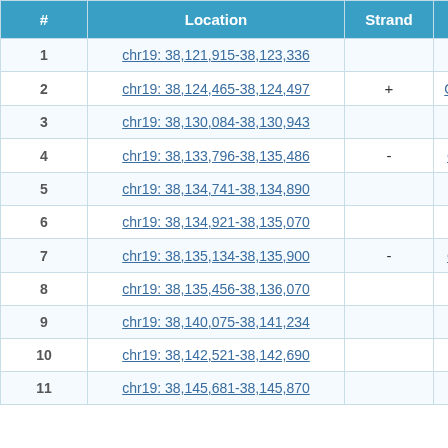| # | Location | Strand | Gene |
| --- | --- | --- | --- |
| 1 | chr19: 38,121,915-38,123,336 |  |  |
| 2 | chr19: 38,124,465-38,124,497 | + | GC19P03 |
| 3 | chr19: 38,130,084-38,130,943 |  |  |
| 4 | chr19: 38,133,796-38,135,486 | - | GC19M0 |
| 5 | chr19: 38,134,741-38,134,890 |  |  |
| 6 | chr19: 38,134,921-38,135,070 |  |  |
| 7 | chr19: 38,135,134-38,135,900 | - | GC19M0 |
| 8 | chr19: 38,135,456-38,136,070 |  |  |
| 9 | chr19: 38,140,075-38,141,234 |  |  |
| 10 | chr19: 38,142,521-38,142,690 |  |  |
| 11 | chr19: 38,145,681-38,145,870 |  |  |